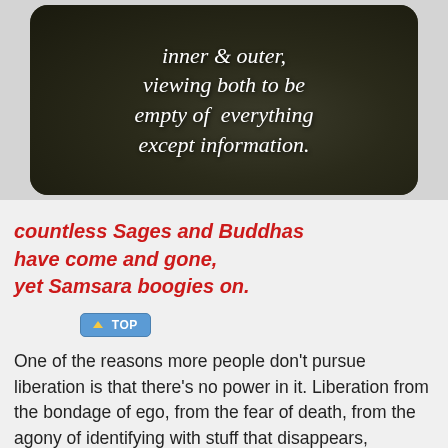[Figure (illustration): Dark, moody background image with italic serif white text reading: 'inner & outer, viewing both to be empty of everything except information.']
countless Sages and Buddhas have come and gone, yet Samsara boogies on.
↑ TOP
One of the reasons more people don't pursue liberation is that there's no power in it. Liberation from the bondage of ego, from the fear of death, from the agony of identifying with stuff that disappears, including one's own treasured, aging body... there's no power in